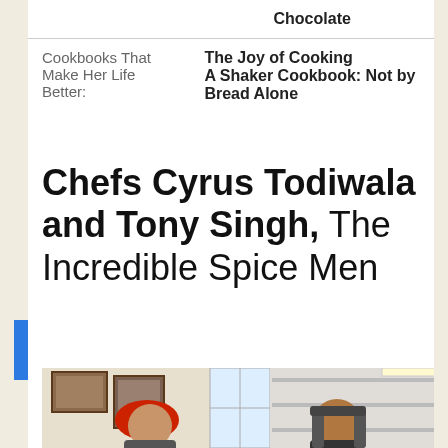|  |  |
| --- | --- |
|  | Chocolate |
| Cookbooks That Make Her Life Better: | The Joy of Cooking
A Shaker Cookbook: Not by Bread Alone |
Chefs Cyrus Todiwala and Tony Singh, The Incredible Spice Men
[Figure (photo): Two men in an office/restaurant setting. One wearing a red turban on the left, the other seated in a chair on the right. Bookshelves and framed pictures visible in the background.]